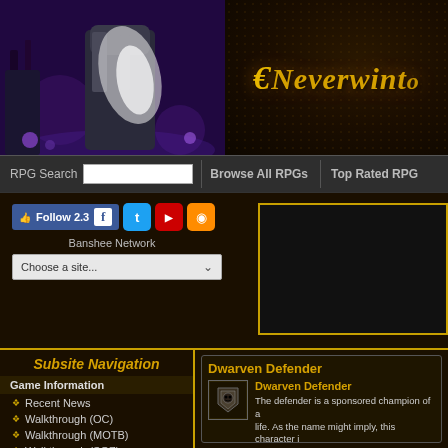[Figure (screenshot): Neverwinter game website header with game artwork on left and stylized 'Neverwinter' title on dark textured background]
RPG Search | Browse All RPGs | Top Rated RPG
[Figure (screenshot): Social media buttons: Follow 2.3 Facebook, Twitter, YouTube, RSS. Banshee Network dropdown. Advertisement box with gold border.]
Subsite Navigation
Game Information
Recent News
Walkthrough (OC)
Walkthrough (MOTB)
Walkthrough (SOZ)
Dwarven Defender
Dwarven Defender
The defender is a sponsored champion of a life. As the name might imply, this character i defenders is a far better defense than a 10-